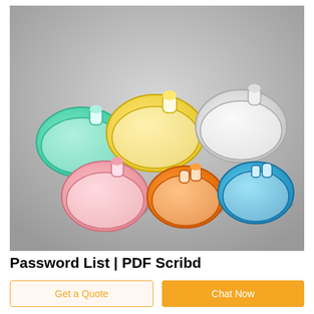[Figure (photo): Six colorful anesthesia face masks arranged on a gray background. From top row left to right: teal/mint green mask, yellow mask, white/clear mask. Bottom row: pink mask, orange mask, blue mask. All masks are oval-shaped silicone medical face masks with transparent cushions and connectors.]
Password List | PDF Scribd
Get a Quote
Chat Now